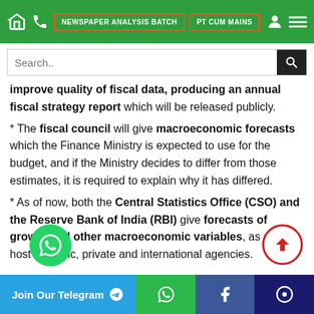NEWSPAPER ANALYSIS BATCH | PT CUM MAINS
improve quality of fiscal data, producing an annual fiscal strategy report which will be released publicly.
* The fiscal council will give macroeconomic forecasts which the Finance Ministry is expected to use for the budget, and if the Ministry decides to differ from those estimates, it is required to explain why it has differed.
* As of now, both the Central Statistics Office (CSO) and the Reserve Bank of India (RBI) give forecasts of growth and other macroeconomic variables, as do a host of public, private and international agencies.
Join Our Telegram